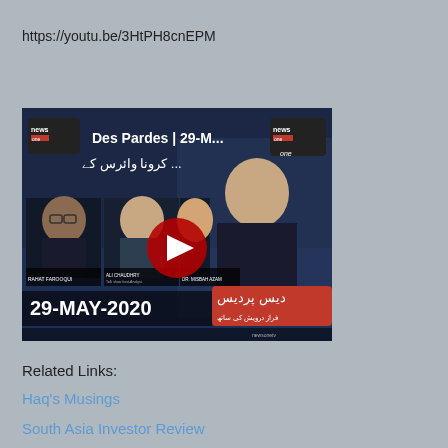https://youtu.be/3HtPH8cnEPM
[Figure (screenshot): YouTube video thumbnail for 'Des Pardes | 29-M...' on News One channel showing a TV news program dated 29-MAY-2020 with a red play button overlay]
Related Links:
Haq's Musings
South Asia Investor Review